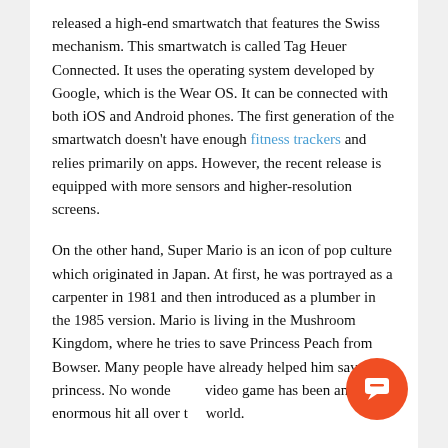released a high-end smartwatch that features the Swiss mechanism. This smartwatch is called Tag Heuer Connected. It uses the operating system developed by Google, which is the Wear OS. It can be connected with both iOS and Android phones. The first generation of the smartwatch doesn't have enough fitness trackers and relies primarily on apps. However, the recent release is equipped with more sensors and higher-resolution screens.
On the other hand, Super Mario is an icon of pop culture which originated in Japan. At first, he was portrayed as a carpenter in 1981 and then introduced as a plumber in the 1985 version. Mario is living in the Mushroom Kingdom, where he tries to save Princess Peach from Bowser. Many people have already helped him save the princess. No wonder this video game has been an enormous hit all over the world.